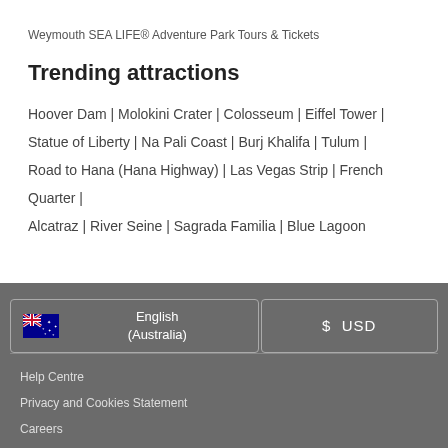Weymouth SEA LIFE® Adventure Park Tours & Tickets
Trending attractions
Hoover Dam | Molokini Crater | Colosseum | Eiffel Tower | Statue of Liberty | Na Pali Coast | Burj Khalifa | Tulum | Road to Hana (Hana Highway) | Las Vegas Strip | French Quarter | Alcatraz | River Seine | Sagrada Familia | Blue Lagoon
English (Australia)
$ USD
Help Centre
Privacy and Cookies Statement
Careers